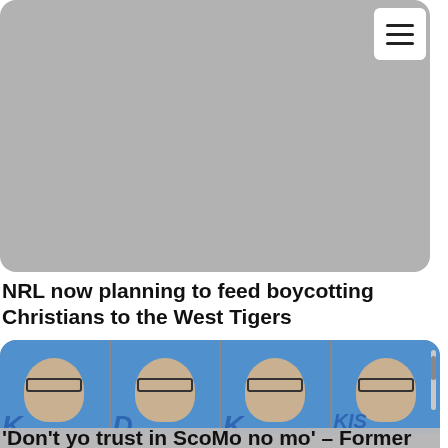[Figure (photo): Gray image placeholder card at top of page, with hamburger menu icon in top right corner]
NRL now planning to feed boycotting Christians to the West Tigers
[Figure (photo): Four-panel photo strip showing a middle-aged man with glasses speaking at a podium with a blue background; images appear to be sequential frames]
'Don't yo trust in ScoMo no mo' – Former PM's preach